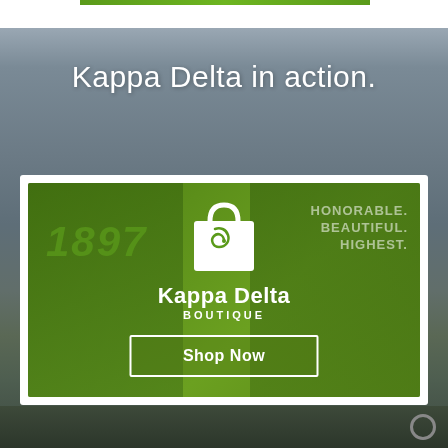[Figure (screenshot): Blurred blue-gray background photo showing people in action, serving as page backdrop]
Kappa Delta in action.
[Figure (illustration): Kappa Delta Boutique promotional card with green overlay showing two people wearing Kappa Delta merchandise (1897 shirt and Honorable Beautiful Highest shirt), with a white shopping bag logo icon, 'Kappa Delta BOUTIQUE' text, and a 'Shop Now' button]